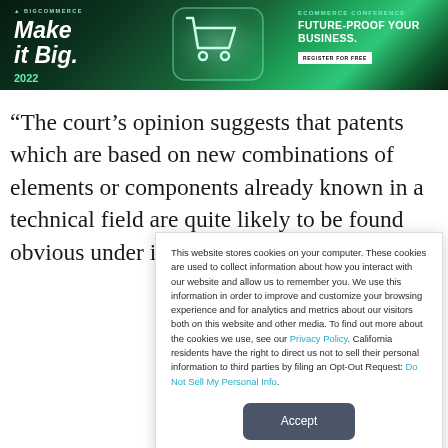[Figure (infographic): BigCommerce eCommerce Conference 2022 banner ad. Dark green background. Left: 'Make it Big. 2022' text with shopping cart icon. Right: 'ECOMMERCE CONFERENCE - FUTURE-PROOF YOUR BUSINESS.' with a 'REGISTER FOR FREE' button.]
“The court’s opinion suggests that patents which are based on new combinations of elements or components already known in a technical field are quite likely to be found obvious under its
This website stores cookies on your computer. These cookies are used to collect information about how you interact with our website and allow us to remember you. We use this information in order to improve and customize your browsing experience and for analytics and metrics about our visitors both on this website and other media. To find out more about the cookies we use, see our Privacy Policy. California residents have the right to direct us not to sell their personal information to third parties by filing an Opt-Out Request: Do Not Sell My Personal Info.